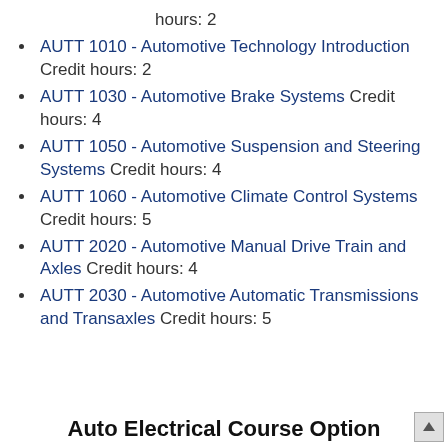hours: 2
AUTT 1010 - Automotive Technology Introduction Credit hours: 2
AUTT 1030 - Automotive Brake Systems Credit hours: 4
AUTT 1050 - Automotive Suspension and Steering Systems Credit hours: 4
AUTT 1060 - Automotive Climate Control Systems Credit hours: 5
AUTT 2020 - Automotive Manual Drive Train and Axles Credit hours: 4
AUTT 2030 - Automotive Automatic Transmissions and Transaxles Credit hours: 5
Auto Electrical Course Option